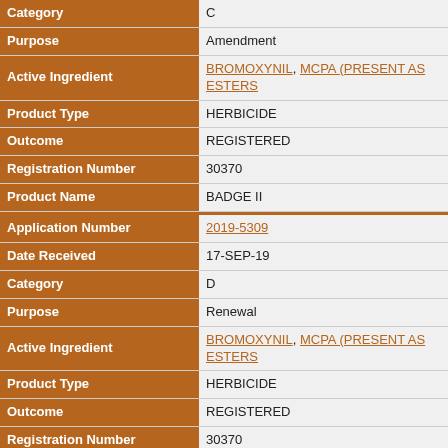| Field | Value |
| --- | --- |
| Category | C |
| Purpose | Amendment |
| Active Ingredient | BROMOXYNIL, MCPA (PRESENT AS ESTERS... |
| Product Type | HERBICIDE |
| Outcome | REGISTERED |
| Registration Number | 30370 |
| Product Name | BADGE II |
| Application Number | 2019-5309 |
| Date Received | 17-SEP-19 |
| Category | D |
| Purpose | Renewal |
| Active Ingredient | BROMOXYNIL, MCPA (PRESENT AS ESTERS... |
| Product Type | HERBICIDE |
| Outcome | REGISTERED |
| Registration Number | 30370 |
| Product Name | BADGE II |
| Application Number | 2019-5054 |
| Date Received | 10-SEP-19 |
| Category | D |
| Purpose | Renewal |
| Active Ingredient | MCPA (PRESENT AS ESTERS), CLOPYRALID... |
| Product Type | HERBICIDE |